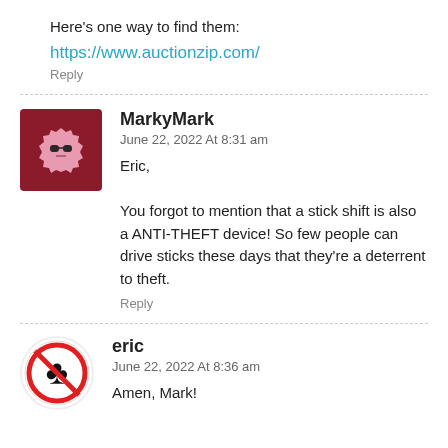Here's one way to find them:
https://www.auctionzip.com/
Reply
MarkyMark
June 22, 2022 At 8:31 am
Eric,

You forgot to mention that a stick shift is also a ANTI-THEFT device! So few people can drive sticks these days that they're a deterrent to theft.
Reply
eric
June 22, 2022 At 8:36 am
Amen, Mark!